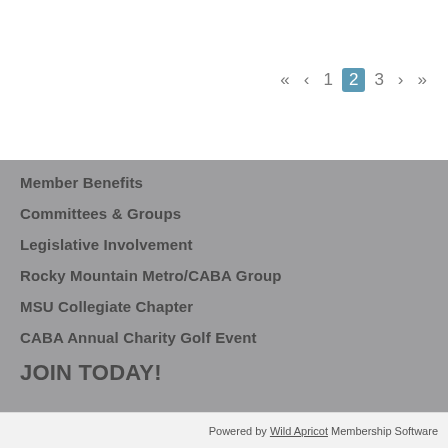« < 1 2 3 > »
Member Benefits
Committees & Groups
Legislative Involvement
Rocky Mountain Metro/CABA Group
MSU Collegiate Chapter
CABA Annual Charity Golf Event
JOIN TODAY!
Powered by Wild Apricot Membership Software